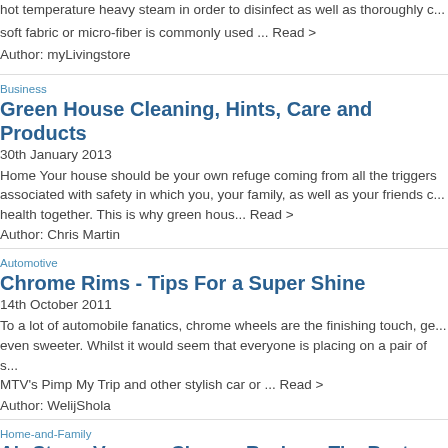hot temperature heavy steam in order to disinfect as well as thoroughly c... soft fabric or micro-fiber is commonly used ... Read >
Author: myLivingstore
Business
Green House Cleaning, Hints, Care and Products
30th January 2013
Home Your house should be your own refuge coming from all the triggers associated with safety in which you, your family, as well as your friends c... health together. This is why green hous... Read >
Author: Chris Martin
Automotive
Chrome Rims - Tips For a Super Shine
14th October 2011
To a lot of automobile fanatics, chrome wheels are the finishing touch, ge... even sweeter. Whilst it would seem that everyone is placing on a pair of s... MTV's Pimp My Trip and other stylish car or ... Read >
Author: WelijShola
Home-and-Family
Air-Storm Vacuum Cleaner Review - The Best Vacuum Clea...